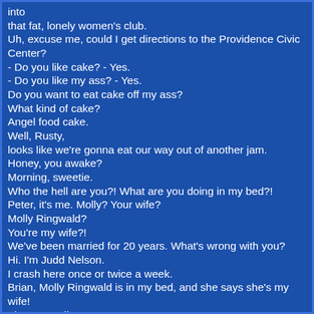into
that fat, lonely women's club.
Uh, excuse me, could I get directions to the Providence Civic Center?
- Do you like cake? - Yes.
- Do you like my ass? - Yes.
Do you want to eat cake off my ass?
What kind of cake?
Angel food cake.
Well, Rusty,
looks like we're gonna eat our way out of another jam.
Honey, you awake?
Morning, sweetie.
Who the hell are you?! What are you doing in my bed?!
Peter, it's me. Molly? Your wife?
Molly Ringwald?
You're my wife?!
We've been married for 20 years. What's wrong with you?
Hi. I'm Judd Nelson.
I crash here once or twice a week.
Brian, Molly Ringwald is in my bed, and she says she's my wife!
That's not all.
Look at this place. Everything's different.
This is crazy.
Brian, did you ever see that Twilight Zone episode?
You know, where the woman wakes up in the hospital,